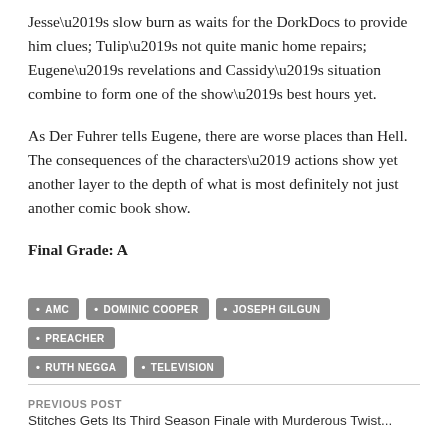Jesse’s slow burn as waits for the DorkDocs to provide him clues; Tulip’s not quite manic home repairs; Eugene’s revelations and Cassidy’s situation combine to form one of the show’s best hours yet.
As Der Fuhrer tells Eugene, there are worse places than Hell. The consequences of the characters’ actions show yet another layer to the depth of what is most definitely not just another comic book show.
Final Grade: A
AMC
DOMINIC COOPER
JOSEPH GILGUN
PREACHER
RUTH NEGGA
TELEVISION
PREVIOUS POST
Stitches Gets Its Third Season Finale with Murderous Twist...